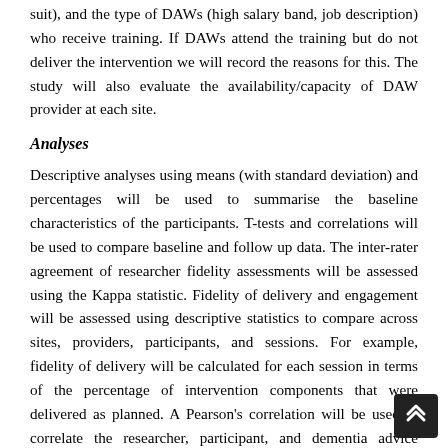suit), and the type of DAWs (high salary band, job description) who receive training. If DAWs attend the training but do not deliver the intervention we will record the reasons for this. The study will also evaluate the availability/capacity of DAW provider at each site.
Analyses
Descriptive analyses using means (with standard deviation) and percentages will be used to summarise the baseline characteristics of the participants. T-tests and correlations will be used to compare baseline and follow up data. The inter-rater agreement of researcher fidelity assessments will be assessed using the Kappa statistic. Fidelity of delivery and engagement will be assessed using descriptive statistics to compare across sites, providers, participants, and sessions. For example, fidelity of delivery will be calculated for each session in terms of the percentage of intervention components that were delivered as planned. A Pearson's correlation will be used to correlate the researcher, participant, and dementia advice worker ratings of fidelity. Missing data will be analysed in order to determine if there are any particular difficulties with any of the measures.